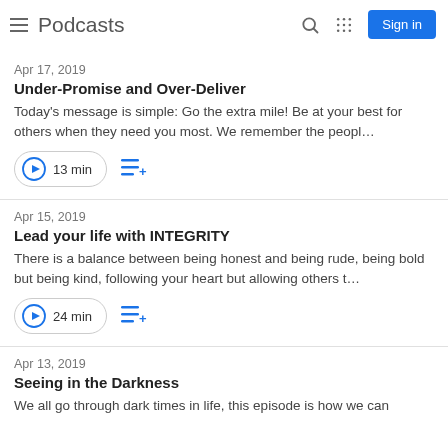Podcasts
Apr 17, 2019
Under-Promise and Over-Deliver
Today's message is simple: Go the extra mile! Be at your best for others when they need you most. We remember the peopl...
13 min
Apr 15, 2019
Lead your life with INTEGRITY
There is a balance between being honest and being rude, being bold but being kind, following your heart but allowing others t...
24 min
Apr 13, 2019
Seeing in the Darkness
We all go through dark times in life, this episode is how we can